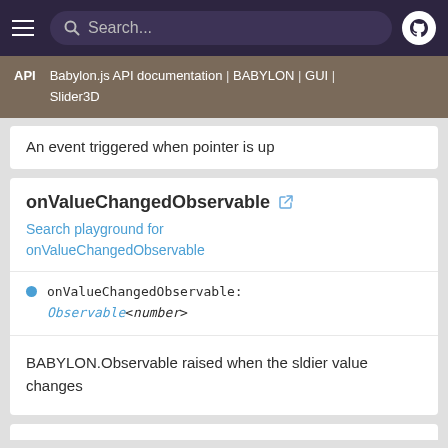Search...
API | Babylon.js API documentation | BABYLON | GUI | Slider3D
An event triggered when pointer is up
onValueChangedObservable
Search playground for onValueChangedObservable
onValueChangedObservable: Observable<number>
BABYLON.Observable raised when the sldier value changes